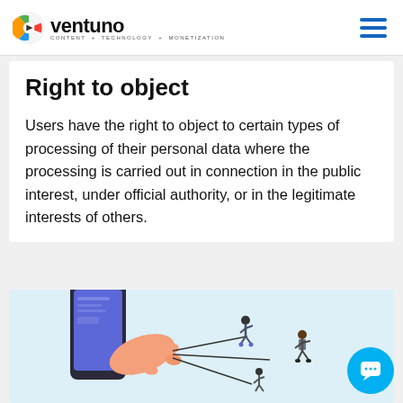ventuno CONTENT + TECHNOLOGY + MONETIZATION
Right to object
Users have the right to object to certain types of processing of their personal data where the processing is carried out in connection in the public interest, under official authority, or in the legitimate interests of others.
[Figure (illustration): Illustration showing a hand emerging from a smartphone pulling people on strings, representing data control or user rights concept. Light blue background with cartoon-style figures.]